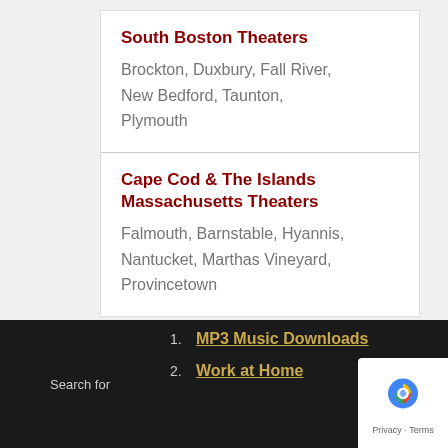South Boston Theaters
Brockton, Duxbury, Fall River, New Bedford, Taunton, Plymouth
Cape Cod & The Islands Massachusetts Theaters
Falmouth, Barnstable, Hyannis, Nantucket, Marthas Vineyard, Provincetown
Search for
1. MP3 Music Downloads
2. Work at Home